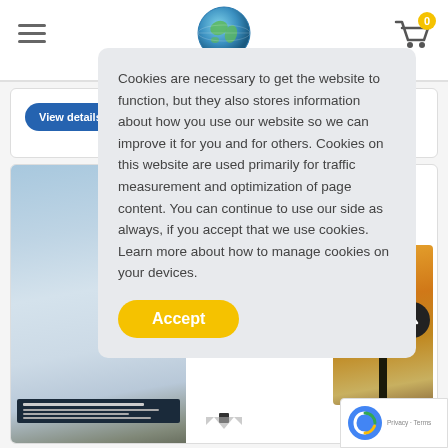[Figure (logo): CalendarWorld logo with globe icon and green text]
[Figure (screenshot): Cookie consent popup overlay with Accept button on CalendarWorld website]
[Figure (photo): Calendar product images showing winter frost and autumn sunset scenes]
[Figure (logo): Google reCAPTCHA badge in bottom right corner]